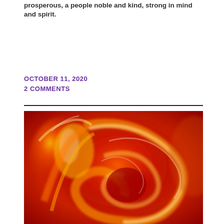prosperous, a people noble and kind, strong in mind and spirit.
OCTOBER 11, 2020
2 COMMENTS
[Figure (photo): Swirling fire image with orange, red, and yellow flames forming a spiral/heart-like shape on a deep red background.]